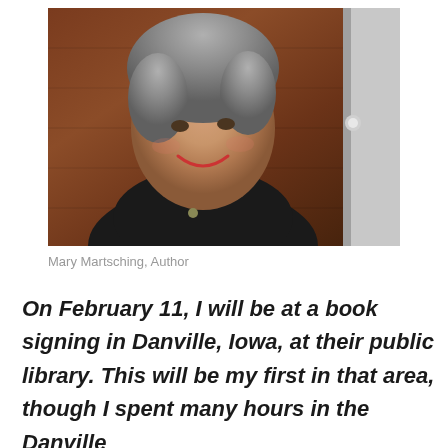[Figure (photo): Portrait photo of Mary Martsching, an older woman with short gray hair, smiling, wearing a black top, standing in front of a wood-paneled background with a door visible.]
Mary Martsching, Author
On February 11, I will be at a book signing in Danville, Iowa, at their public library. This will be my first in that area, though I spent many hours in the Danville